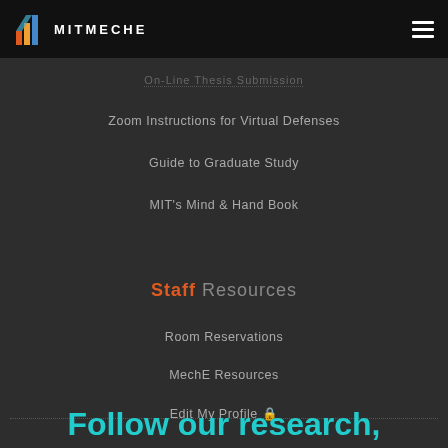MITMECHE
On-Line Thesis Submission
Zoom Instructions for Virtual Defenses
Guide to Graduate Study
MIT's Mind & Hand Book
Staff Resources
Room Reservations
MechE Resources
Edit My Profile 🔒
Follow our research,